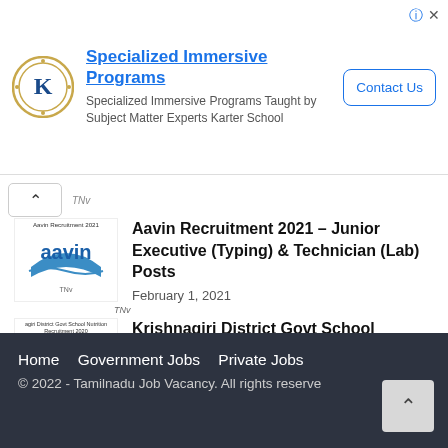[Figure (other): Advertisement banner: Karter School logo, 'Specialized Immersive Programs' heading, description text, and 'Contact Us' button]
[Figure (other): Aavin logo thumbnail for recruitment article]
Aavin Recruitment 2021 – Junior Executive (Typing) & Technician (Lab) Posts
February 1, 2021
[Figure (other): Krishnagiri District Government emblem thumbnail]
Krishnagiri District Govt School Nutrition Centre Recruitment 2020 – Organizer, Cook & Cook Assistant Posts
September 28, 2020
Home   Government Jobs   Private Jobs   © 2022 - Tamilnadu Job Vacancy. All rights reserve